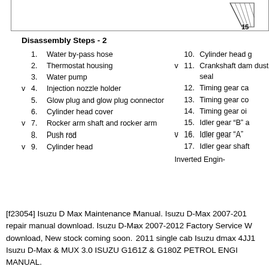[Figure (schematic): Top portion of engine diagram with number 15 label, partial view of component with diagonal lines]
Disassembly Steps - 2
1. Water by-pass hose
2. Thermostat housing
3. Water pump
v  4. Injection nozzle holder
5. Glow plug and glow plug connector
6. Cylinder head cover
v  7. Rocker arm shaft and rocker arm
8. Push rod
v  9. Cylinder head
10. Cylinder head g
v  11. Crankshaft dam dust seal
12. Timing gear ca
13. Timing gear co
14. Timing gear oi
15. Idler gear “B” a
v  16. Idler gear “A”
17. Idler gear shaft
Inverted Engin-
[f23054] Isuzu D Max Maintenance Manual. Isuzu D-Max 2007-201 repair manual download. Isuzu D-Max 2007-2012 Factory Service W download, New stock coming soon. 2011 single cab Isuzu dmax 4JJ1 Isuzu D-Max & MUX 3.0 ISUZU G161Z & G180Z PETROL ENGI MANUAL.